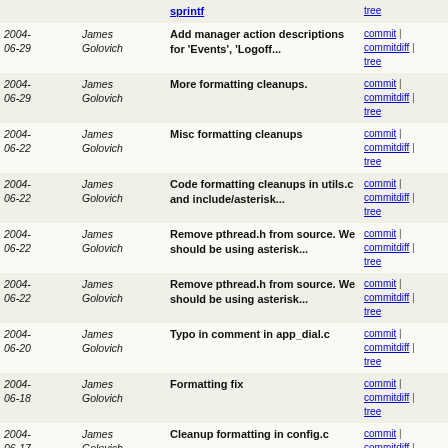| Date | Author | Message | Links |
| --- | --- | --- | --- |
| 2004-06-29 | James Golovich | Add manager action descriptions for 'Events', 'Logoff... | commit | commitdiff | tree |
| 2004-06-29 | James Golovich | More formatting cleanups. | commit | commitdiff | tree |
| 2004-06-22 | James Golovich | Misc formatting cleanups | commit | commitdiff | tree |
| 2004-06-22 | James Golovich | Code formatting cleanups in utils.c and include/asterisk... | commit | commitdiff | tree |
| 2004-06-22 | James Golovich | Remove pthread.h from source. We should be using asterisk... | commit | commitdiff | tree |
| 2004-06-22 | James Golovich | Remove pthread.h from source. We should be using asterisk... | commit | commitdiff | tree |
| 2004-06-20 | James Golovich | Typo in comment in app_dial.c | commit | commitdiff | tree |
| 2004-06-18 | James Golovich | Formatting fix | commit | commitdiff | tree |
| 2004-06-17 | James Golovich | Cleanup formatting in config.c | commit | commitdiff | tree |
| 2004-06-15 | James Golovich | Formatting fix. Tabs not spaces :) | commit | commitdiff | tree |
| 2004-06-14 | James Golovich | Cleanup formatting | commit | commitdiff | tree |
| 2004-06-14 | James Golovich | Cleanup formatting | commit | commitdiff | tree |
| 2004-06-14 | James Golovich | Cleanup formatting | commit | commitdiff | tree |